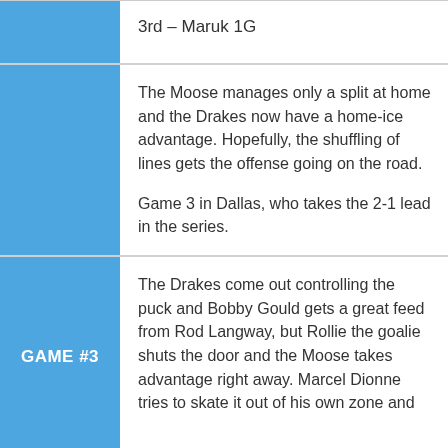3rd – Maruk 1G
The Moose manages only a split at home and the Drakes now have a home-ice advantage. Hopefully, the shuffling of lines gets the offense going on the road.

Game 3 in Dallas, who takes the 2-1 lead in the series.
GAME #3
The Drakes come out controlling the puck and Bobby Gould gets a great feed from Rod Langway, but Rollie the goalie shuts the door and the Moose takes advantage right away. Marcel Dionne tries to skate it out of his own zone and